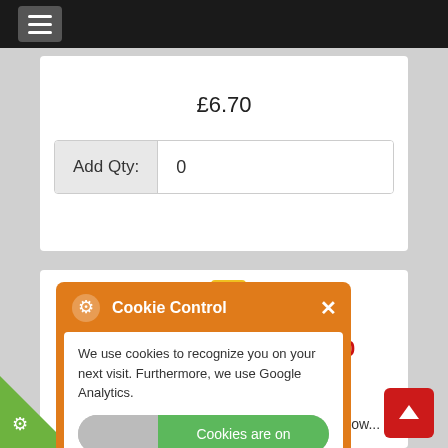Navigation menu (hamburger icon)
£6.70
Add Qty: 0
[Figure (screenshot): Product image partially visible at top of second card — yellow and green can/product packaging]
PK10 MB-10
Dust & Grease results Use With Panel Wipe Link Below...
[Figure (screenshot): Cookie Control popup overlay with orange background, gear icon, close button, toggle for 'Cookies are on', and read More button]
Cookie Control
We use cookies to recognize you on your next visit. Furthermore, we use Google Analytics.
Cookies are on
about this tool
read More